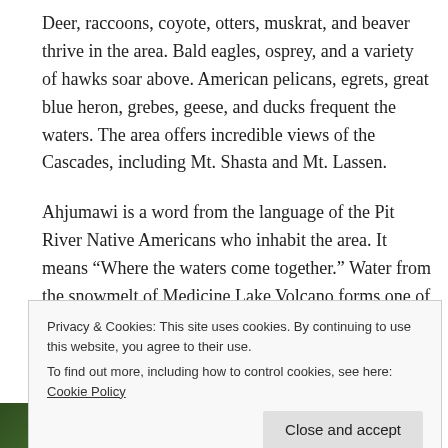Deer, raccoons, coyote, otters, muskrat, and beaver thrive in the area. Bald eagles, osprey, and a variety of hawks soar above. American pelicans, egrets, great blue heron, grebes, geese, and ducks frequent the waters. The area offers incredible views of the Cascades, including Mt. Shasta and Mt. Lassen.
Ahjumawi is a word from the language of the Pit River Native Americans who inhabit the area. It means “Where the waters come together.” Water from the snowmelt of Medicine Lake Volcano forms one of the largest systems of underground springs in the
Privacy & Cookies: This site uses cookies. By continuing to use this website, you agree to their use.
To find out more, including how to control cookies, see here: Cookie Policy
Close and accept
[Figure (photo): Partial view of a green forest/vegetation photo strip at the bottom of the page]